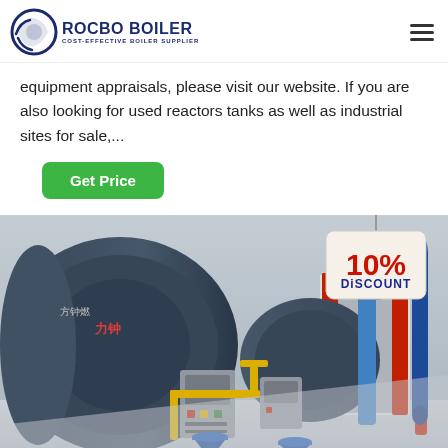ROCBO BOILER - COST-EFFECTIVE BOILER SUPPLIER
equipment appraisals, please visit our website. If you are also looking for used reactors tanks as well as industrial sites for sale,...
Get Price
[Figure (photo): Industrial boiler room with multiple large blue cylindrical boilers, yellow gas pipes, control panels, and blue conical bases on a white floor. Red-framed doorway visible in background. 10% DISCOUNT tag overlay in upper right.]